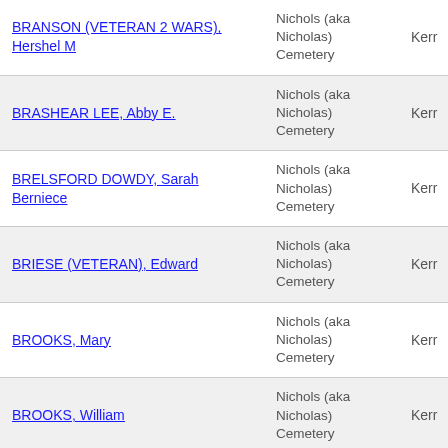| Name | Cemetery | County |
| --- | --- | --- |
| BRANSON (VETERAN 2 WARS), Hershel M | Nichols (aka Nicholas) Cemetery | Kerr |
| BRASHEAR LEE, Abby E. | Nichols (aka Nicholas) Cemetery | Kerr |
| BRELSFORD DOWDY, Sarah Berniece | Nichols (aka Nicholas) Cemetery | Kerr |
| BRIESE (VETERAN), Edward | Nichols (aka Nicholas) Cemetery | Kerr |
| BROOKS, Mary | Nichols (aka Nicholas) Cemetery | Kerr |
| BROOKS, William | Nichols (aka Nicholas) Cemetery | Kerr |
| BROTHERS, Lucretia | Nichols (aka Nicholas) Cemetery | Kerr |
| BROWN, Lena | Nichols (aka Nicholas) Cemetery | Kerr |
| BROWN, Viola L. | Nichols (aka Nicholas) Cemetery | Kerr |